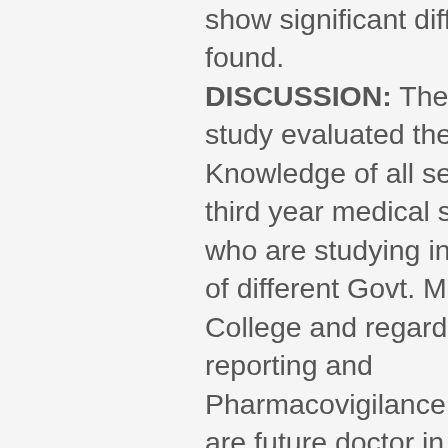show significant differences found. DISCUSSION: The present study evaluated the baseline Knowledge of all second and third year medical students who are studying in M.B.B.S of different Govt. Medical College and regarding ADR reporting and Pharmacovigilance. These are future doctor in our society Overall, the Knowledge was very poor. The World Health Organization (WHO) defines Pharmacovigilance as “science and activities relating to the detection, assessment, understanding and prevention of adverse effects or any other drug related problems.” The